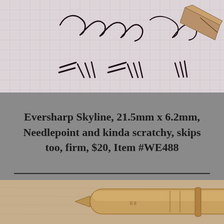[Figure (photo): Photo of a fountain pen nib on grid paper with handwriting and pen stroke samples in black ink]
Eversharp Skyline, 21.5mm x 6.2mm, Needlepoint and kinda scratchy, skips too, firm, $20, Item #WE488
[Figure (photo): Close-up photo of a gold/copper colored fountain pen nib on textured tan paper]